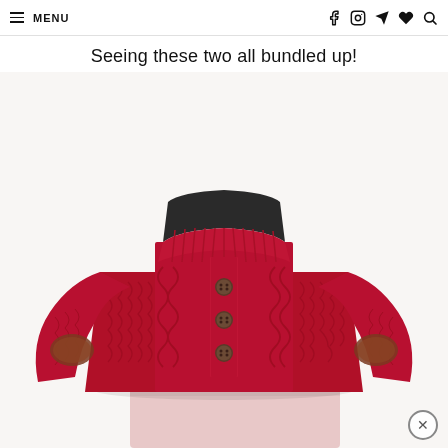≡ MENU  [social icons: facebook, instagram, send, heart, search]
Seeing these two all bundled up!
[Figure (photo): Red cable-knit henley sweater with dark fleece collar, three brown buttons at neckline, suede elbow patches, displayed on white background. Bottom portion of a pink garment is partially visible at the very bottom.]